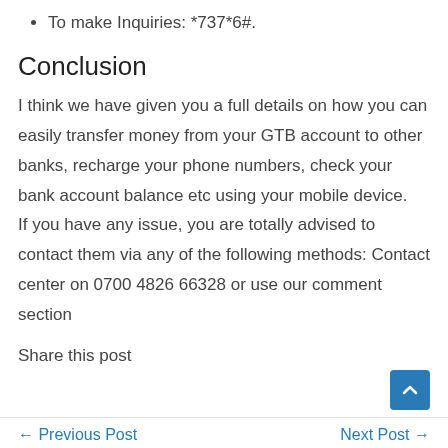To make Inquiries: *737*6#.
Conclusion
I think we have given you a full details on how you can easily transfer money from your GTB account to other banks, recharge your phone numbers, check your bank account balance etc using your mobile device.
If you have any issue, you are totally advised to contact them via any of the following methods: Contact center on 0700 4826 66328 or use our comment section
Share this post
← Previous Post    Next Post →